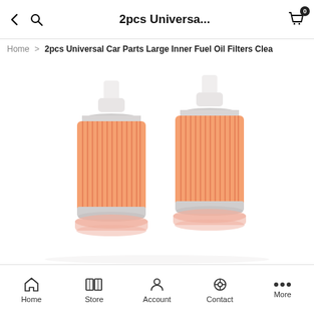2pcs Universa...
Home > 2pcs Universal Car Parts Large Inner Fuel Oil Filters Clea
[Figure (photo): Two orange cylindrical inline fuel oil filters with white plastic barbed fittings on top, shown side by side on a white background.]
Home  Store  Account  Contact  More